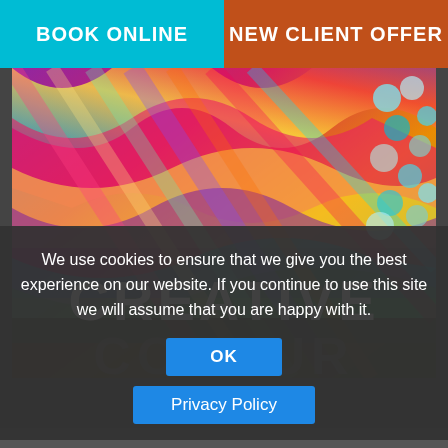BOOK ONLINE
NEW CLIENT OFFER
[Figure (photo): Colorful rainbow hair with sequins/holographic discs on right side, with bold white 'CREATIVE' text and dark 'COLOUR' text overlaid at the bottom of the image]
We use cookies to ensure that we give you the best experience on our website. If you continue to use this site we will assume that you are happy with it.
OK
Privacy Policy